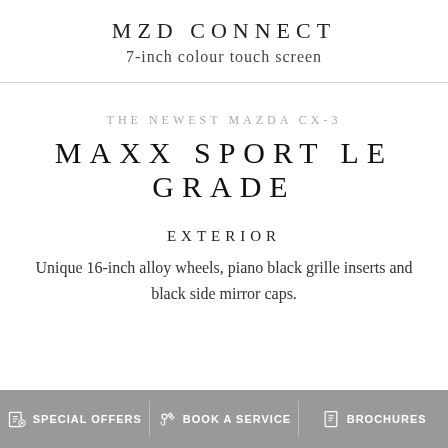MZD CONNECT
7-inch colour touch screen
THE NEWEST MAZDA CX-3
MAXX SPORT LE GRADE
EXTERIOR
Unique 16-inch alloy wheels, piano black grille inserts and black side mirror caps.
SPECIAL OFFERS  BOOK A SERVICE  BROCHURES